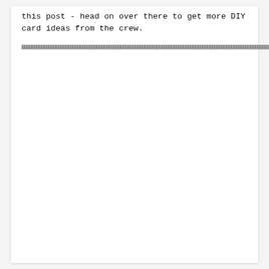this post - head on over there to get more DIY card ideas from the crew.
[Figure (other): A decorative horizontal banner/divider image with a textured, speckled pattern in grayscale.]